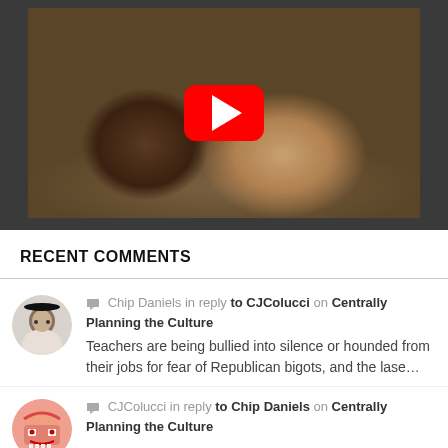[Figure (screenshot): YouTube video thumbnail showing a man and an otter swimming in murky brown water, with a red YouTube play button overlay in the center]
RECENT COMMENTS
Chip Daniels in reply to CJColucci on Centrally Planning the Culture — Teachers are being bullied into silence or hounded from their jobs for fear of Republican bigots, and the lase…
CJColucci in reply to Chip Daniels on Centrally Planning the Culture